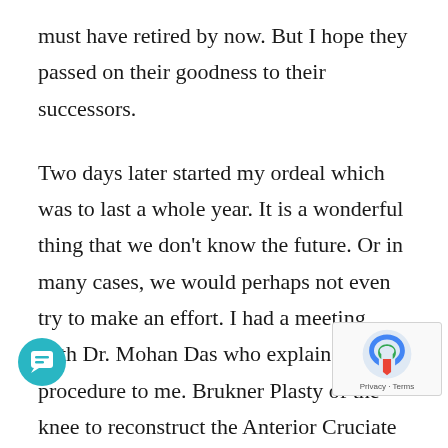must have retired by now. But I hope they passed on their goodness to their successors.
Two days later started my ordeal which was to last a whole year. It is a wonderful thing that we don't know the future. Or in many cases, we would perhaps not even try to make an effort. I had a meeting with Dr. Mohan Das who explained the procedure to me. Brukner Plasty of the knee to reconstruct the Anterior Cruciate Ligament. They would take a slice of the Patella tendon, reinforce it with Dacron Fiber and anchor it in a figure of 8 with two steel pins above and below the knee. Part of this would be threaded through a tunnel that they would drill in the bone. All this